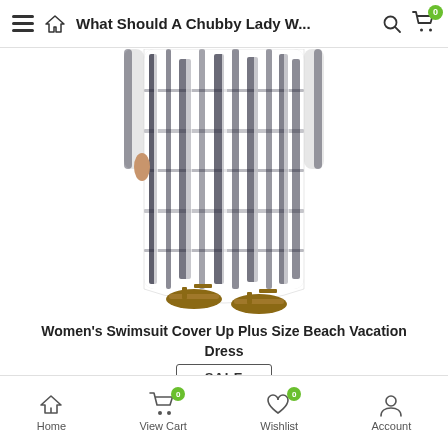What Should A Chubby Lady W...
[Figure (photo): A woman wearing a black and white tie-dye swimsuit cover-up plus size beach vacation dress, showing from waist down, wearing sandals.]
Women's Swimsuit Cover Up Plus Size Beach Vacation Dress
SALE
$36.00 $25.00
Home  View Cart 0  Wishlist 0  Account